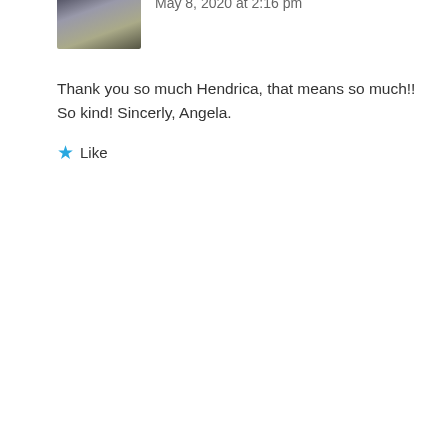That your concern is for others, that they not feel alone in their grief struggle, testifies to your maternal kindness. You write so honestly and so beautifully, it's like an open window onto your soul. So many people are with you, and are sending love and understanding to Kenny in Heaven. And prayer is marvelous, I'm so glad you have that.
Like
Reply ↓
kennystrong Post author
May 8, 2020 at 2:16 pm
Thank you so much Hendrica, that means so much!! So kind! Sincerly, Angela.
Like